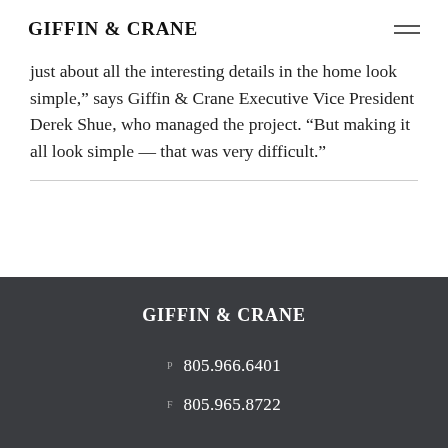Giffin & Crane
just about all the interesting details in the home look simple,” says Giffin & Crane Executive Vice President Derek Shue, who managed the project. “But making it all look simple — that was very difficult.”
Giffin & Crane
P 805.966.6401
F 805.965.8722